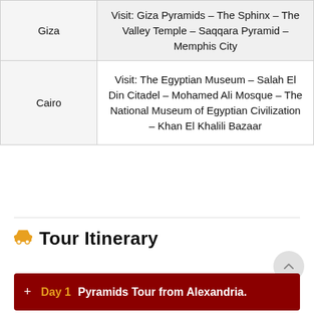| Location | Activities |
| --- | --- |
| Giza | Visit: Giza Pyramids – The Sphinx – The Valley Temple – Saqqara Pyramid – Memphis City |
| Cairo | Visit: The Egyptian Museum – Salah El Din Citadel – Mohamed Ali Mosque – The National Museum of Egyptian Civilization – Khan El Khalili Bazaar |
Tour Itinerary
+ Day 1  Pyramids Tour from Alexandria.